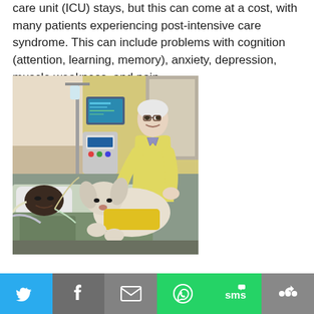care unit (ICU) stays, but this can come at a cost, with many patients experiencing post-intensive care syndrome. This can include problems with cognition (attention, learning, memory), anxiety, depression, muscle weakness, and pain.
[Figure (photo): A patient lying in a hospital bed in an ICU setting, with an elderly man in a yellow protective gown leaning over and presenting a therapy dog (wearing a yellow vest) to the patient. Medical equipment including monitors and IV poles visible in the background.]